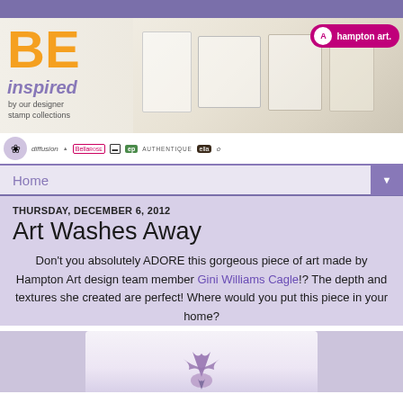[Figure (photo): Hampton Art blog banner — 'BE inspired by our designer stamp collections' with craft items and Hampton Art logo pill in magenta]
[Figure (logo): Partner brand logos bar: flower logo, diffusion, pyramid logo, Bella Rose, black brand, ep, Authentique, ella, decorative script logo]
Home
THURSDAY, DECEMBER 6, 2012
Art Washes Away
Don't you absolutely ADORE this gorgeous piece of art made by Hampton Art design team member Gini Williams Cagle!?  The depth and textures she created are perfect!  Where would you put this piece in your home?
[Figure (photo): Bottom portion of a decorative art piece showing what appears to be a purple fleur-de-lis or iris flower on a light background]